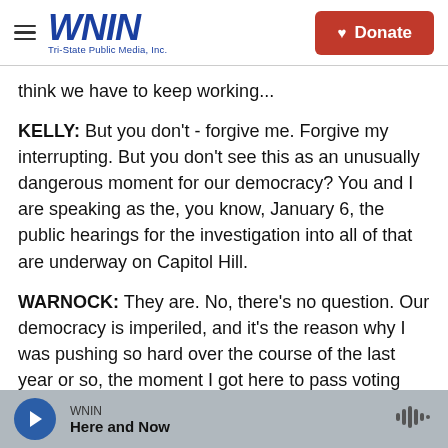WNIN Tri-State Public Media, Inc. | Donate
think we have to keep working...
KELLY: But you don't - forgive me. Forgive my interrupting. But you don't see this as an unusually dangerous moment for our democracy? You and I are speaking as the, you know, January 6, the public hearings for the investigation into all of that are underway on Capitol Hill.
WARNOCK: They are. No, there's no question. Our democracy is imperiled, and it's the reason why I was pushing so hard over the course of the last year or so, the moment I got here to pass voting
WNIN | Here and Now